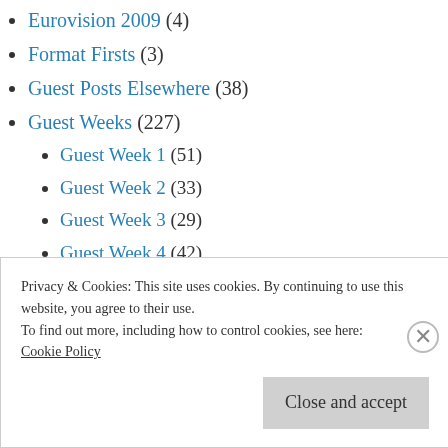Eurovision 2009 (4)
Format Firsts (3)
Guest Posts Elsewhere (38)
Guest Weeks (227)
Guest Week 1 (51)
Guest Week 2 (33)
Guest Week 3 (29)
Guest Week 4 (42)
Guest Week 5 (27)
Guest Week 6/7/8 (46)
Hangzhou Diary (13)
Privacy & Cookies: This site uses cookies. By continuing to use this website, you agree to their use.
To find out more, including how to control cookies, see here:
Cookie Policy
Close and accept